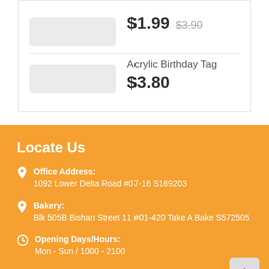$1.99  $3.90
Acrylic Birthday Tag
$3.80
Locate Us
Office Address:
1092 Lower Delta Road #07-16 S169203
Bakery:
Blk 505B Bishan Street 11 #01-420 Take A Bake S572505
Opening Days/Hours:
Mon - Sun / 1000 - 2100
Connect With Us